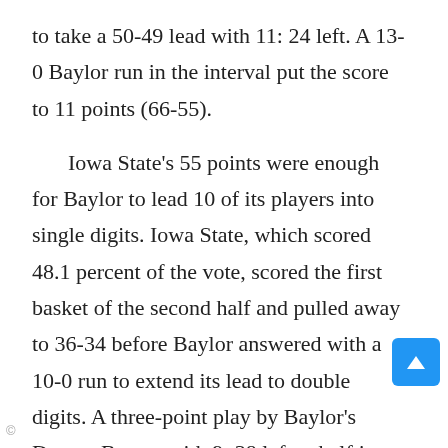to take a 50-49 lead with 11: 24 left. A 13-0 Baylor run in the interval put the score to 11 points (66-55).

Iowa State's 55 points were enough for Baylor to lead 10 of its players into single digits. Iowa State, which scored 48.1 percent of the vote, scored the first basket of the second half and pulled away to 36-34 before Baylor answered with a 10-0 run to extend its lead to double digits. A three-point play by Baylor's Deonte Burton with 9: 38 left at halftime put them ahead 23-30. The worries continue as the Big Eight moves on to the